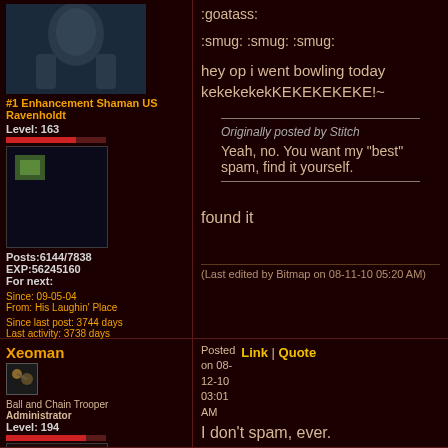[Figure (screenshot): Forum post from user with dark avatar showing armored character]
#1 Enhancement Shaman US Ravenholdt
Level: 163
[Figure (photo): Small image in user sidebar]
Posts:6144/7838
EXP:56245160
For next:
Since: 09-05-04
From: His Laughin' Place
Since last post: 3744 days
Last activity: 3738 days
no user specified
:goatass:
:smug: :smug: :smug:
hey op i went bowling today kekekekekKEKEKEKEKE!~
Originally posted by Stitch
Yeah, no. You want my "best" spam, find it yourself.
found it
(Last edited by Bitmap on 08-11-10 05:20 AM)
Xeoman
[Figure (photo): Small character icon in sidebar]
Ball and Chain Trooper
Administrator
Level: 194
[Figure (illustration): Mega Man style character avatar]
Posts:11746
EXP:103361356
For next:
Posted on 08-12-10 03:01 AM
Link | Quote
I don't spam, ever.
[Figure (illustration): Large yellow smiley face emoji]
(Last edited by Xeus on 08-12-10 03:02 AM)